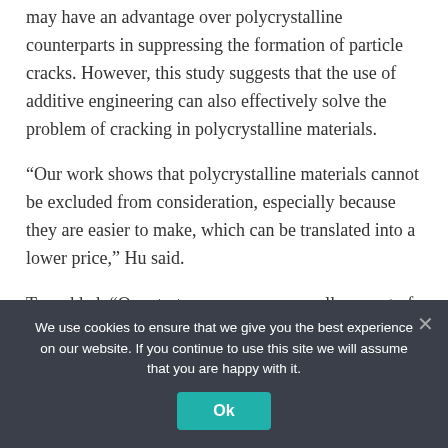may have an advantage over polycrystalline counterparts in suppressing the formation of particle cracks. However, this study suggests that the use of additive engineering can also effectively solve the problem of cracking in polycrystalline materials.
“Our work shows that polycrystalline materials cannot be excluded from consideration, especially because they are easier to make, which can be translated into a lower price,” Hu said.
Tan added: “Our strategy uses a very small amount of additives to achieve such a large improvement in
We use cookies to ensure that we give you the best experience on our website. If you continue to use this site we will assume that you are happy with it.